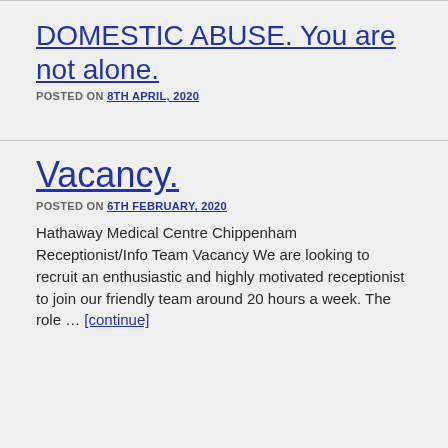DOMESTIC ABUSE. You are not alone.
POSTED ON 8TH APRIL, 2020
Vacancy.
POSTED ON 6TH FEBRUARY, 2020
Hathaway Medical Centre Chippenham Receptionist/Info Team Vacancy We are looking to recruit an enthusiastic and highly motivated receptionist to join our friendly team around 20 hours a week. The role … [continue]